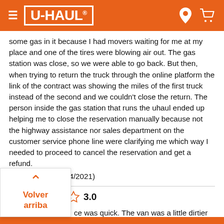U-HAUL
some gas in it because I had movers waiting for me at my place and one of the tires were blowing air out. The gas station was close, so we were able to go back. But then, when trying to return the truck through the online platform the link of the contract was showing the miles of the first truck instead of the second and we couldn't close the return. The person inside the gas station that runs the uhaul ended up helping me to close the reservation manually because not the highway assistance nor sales department on the customer service phone line were clarifying me which way I needed to proceed to cancel the reservation and get a refund.
— Irving P.  (12/14/2021)
[Figure (other): 3.0 star rating shown with 3 filled orange stars and 2 empty stars, rating value 3.0]
ce was quick. The van was a little dirtier than I was hoping
A K.  (10/19/2021)
Volver arriba